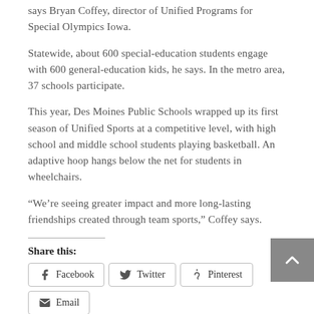says Bryan Coffey, director of Unified Programs for Special Olympics Iowa.
Statewide, about 600 special-education students engage with 600 general-education kids, he says. In the metro area, 37 schools participate.
This year, Des Moines Public Schools wrapped up its first season of Unified Sports at a competitive level, with high school and middle school students playing basketball. An adaptive hoop hangs below the net for students in wheelchairs.
“We’re seeing greater impact and more long-lasting friendships created through team sports,” Coffey says.
Share this:
Facebook  Twitter  Pinterest  Email  Print
Like this: